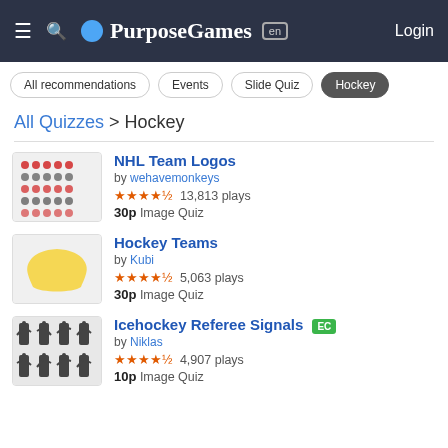PurposeGames — en — Login
All recommendations
Events
Slide Quiz
Hockey
All Quizzes > Hockey
[Figure (screenshot): Thumbnail of NHL Team Logos quiz showing a grid of colored team logo dots]
NHL Team Logos by wehavemonkeys ★★★★½ 13,813 plays 30p Image Quiz
[Figure (screenshot): Thumbnail of Hockey Teams quiz showing a yellow map shape]
Hockey Teams by Kubi ★★★★½ 5,063 plays 30p Image Quiz
[Figure (screenshot): Thumbnail of Icehockey Referee Signals showing silhouettes of referee signals]
Icehockey Referee Signals EC by Niklas ★★★★½ 4,907 plays 10p Image Quiz